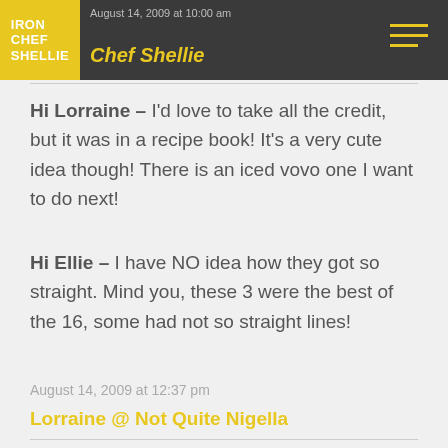Iron Chef Shellie
Hi Lorraine – I'd love to take all the credit, but it was in a recipe book! It's a very cute idea though! There is an iced vovo one I want to do next!
Hi Ellie – I have NO idea how they got so straight. Mind you, these 3 were the best of the 16, some had not so straight lines!
August 14, 2009 at 12:37 pm
Lorraine @ Not Quite Nigella